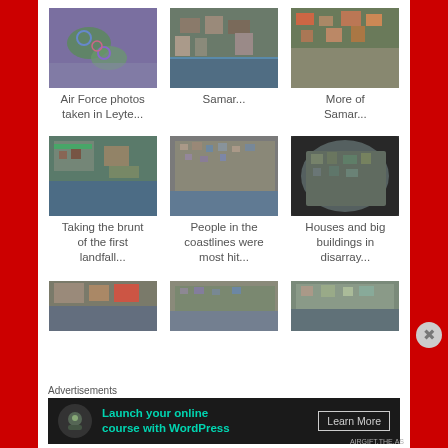[Figure (photo): Aerial photo of Leyte showing flooding and damage]
Air Force photos taken in Leyte...
[Figure (photo): Aerial photo of Samar showing destruction]
Samar...
[Figure (photo): Aerial photo showing more of Samar destruction]
More of Samar...
[Figure (photo): Aerial photo of coastline area taking first landfall brunt]
Taking the brunt of the first landfall...
[Figure (photo): Aerial photo of coastlines with people most hit]
People in the coastlines were most hit...
[Figure (photo): Aerial photo showing houses and big buildings in disarray]
Houses and big buildings in disarray...
[Figure (photo): Partial aerial photo row 3 left]
[Figure (photo): Partial aerial photo row 3 center]
[Figure (photo): Partial aerial photo row 3 right]
Advertisements
[Figure (other): Advertisement: Launch your online course with WordPress - Learn More]